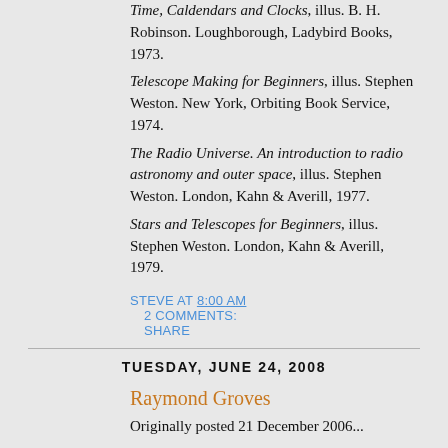Time, Caldendars and Clocks, illus. B. H. Robinson. Loughborough, Ladybird Books, 1973.
Telescope Making for Beginners, illus. Stephen Weston. New York, Orbiting Book Service, 1974.
The Radio Universe. An introduction to radio astronomy and outer space, illus. Stephen Weston. London, Kahn & Averill, 1977.
Stars and Telescopes for Beginners, illus. Stephen Weston. London, Kahn & Averill, 1979.
STEVE AT 8:00 AM  2 COMMENTS:  SHARE
TUESDAY, JUNE 24, 2008
Raymond Groves
Originally posted 21 December 2006...